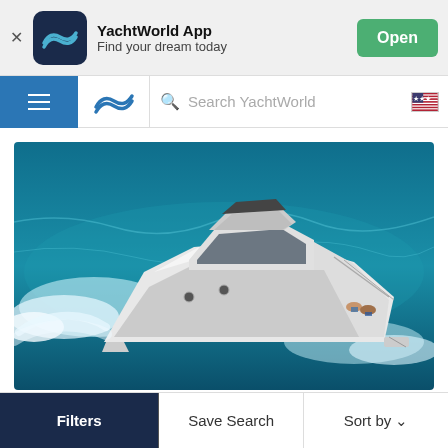[Figure (screenshot): YachtWorld App banner with app icon (dark navy with wave logo), app name 'YachtWorld App', subtitle 'Find your dream today', and green 'Open' button]
[Figure (screenshot): Navigation bar with blue hamburger menu, YachtWorld wave logo, search bar labeled 'Search YachtWorld', and US flag icon]
[Figure (photo): Aerial photo of a white luxury motor yacht speeding through blue ocean water, with two people lounging on the bow deck]
[Figure (screenshot): Bottom toolbar with three buttons: 'Filters' (dark navy background), 'Save Search', and 'Sort by' with chevron]